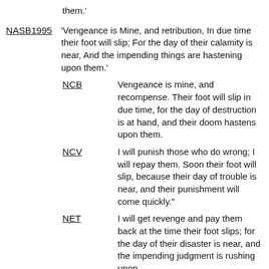them.'
NASB1995 — 'Vengeance is Mine, and retribution, In due time their foot will slip; For the day of their calamity is near, And the impending things are hastening upon them.'
NCB — Vengeance is mine, and recompense. Their foot will slip in due time, for the day of destruction is at hand, and their doom hastens upon them.
NCV — I will punish those who do wrong; I will repay them. Soon their foot will slip, because their day of trouble is near, and their punishment will come quickly."
NET — I will get revenge and pay them back at the time their foot slips; for the day of their disaster is near, and the impending judgment is rushing upon